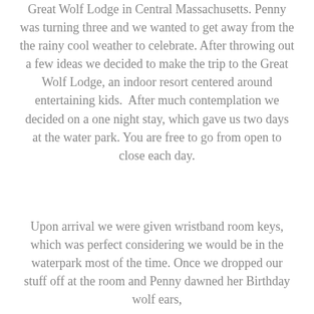Great Wolf Lodge in Central Massachusetts. Penny was turning three and we wanted to get away from the the rainy cool weather to celebrate. After throwing out a few ideas we decided to make the trip to the Great Wolf Lodge, an indoor resort centered around entertaining kids.  After much contemplation we decided on a one night stay, which gave us two days at the water park. You are free to go from open to close each day.
Upon arrival we were given wristband room keys, which was perfect considering we would be in the waterpark most of the time. Once we dropped our stuff off at the room and Penny dawned her Birthday wolf ears,